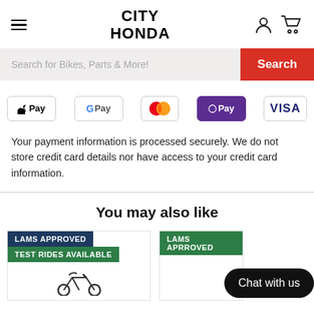CITY HONDA
Search for Bikes, Parts & More!
[Figure (infographic): Payment method icons: Apple Pay, Google Pay, Mastercard, OPay, Visa]
Your payment information is processed securely. We do not store credit card details nor have access to your credit card information.
You may also like
[Figure (screenshot): Two product cards with LAMS APPROVED and TEST RIDES AVAILABLE badges, and a Chat with us button overlay]